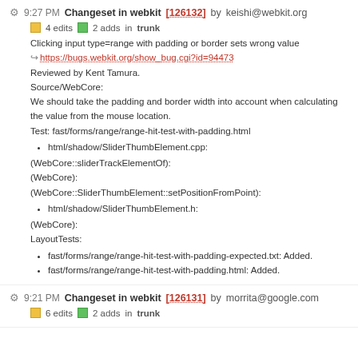9:27 PM Changeset in webkit [126132] by keishi@webkit.org
4 edits  2 adds  in trunk
Clicking input type=range with padding or border sets wrong value
https://bugs.webkit.org/show_bug.cgi?id=94473
Reviewed by Kent Tamura.
Source/WebCore:
We should take the padding and border width into account when calculating the value from the mouse location.
Test: fast/forms/range/range-hit-test-with-padding.html
html/shadow/SliderThumbElement.cpp:
(WebCore::sliderTrackElementOf):
(WebCore):
(WebCore::SliderThumbElement::setPositionFromPoint):
html/shadow/SliderThumbElement.h:
(WebCore):
LayoutTests:
fast/forms/range/range-hit-test-with-padding-expected.txt: Added.
fast/forms/range/range-hit-test-with-padding.html: Added.
9:21 PM Changeset in webkit [126131] by morrita@google.com
6 edits  2 adds  in trunk